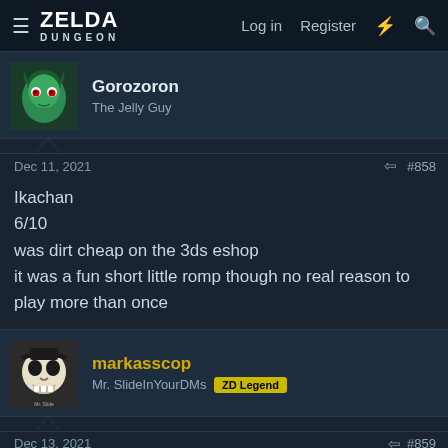ZELDA DUNGEON — Log in  Register
Gorozoron
The Jelly Guy
Dec 11, 2021  #858
Ikachan
6/10
was dirt cheap on the 3ds eshop
it was a fun short little romp though no real reason to play more than once
markasscop
Mr. SlideInYourDMs  ZD Legend
Dec 13, 2021  #859
Fire Emblem Three Houses
one hell of a good game w/ lots of character interactions and